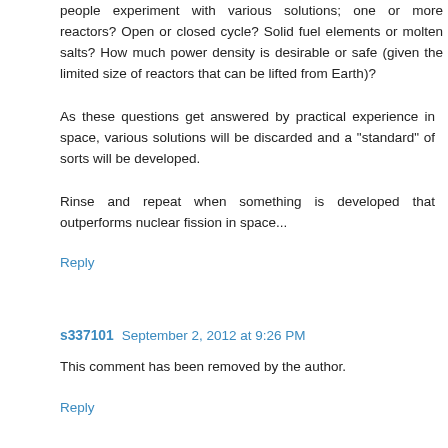people experiment with various solutions; one or more reactors? Open or closed cycle? Solid fuel elements or molten salts? How much power density is desirable or safe (given the limited size of reactors that can be lifted from Earth)?
As these questions get answered by practical experience in space, various solutions will be discarded and a "standard" of sorts will be developed.
Rinse and repeat when something is developed that outperforms nuclear fission in space...
Reply
s337101  September 2, 2012 at 9:26 PM
This comment has been removed by the author.
Reply
Locki  September 2, 2012 at 9:29 PM